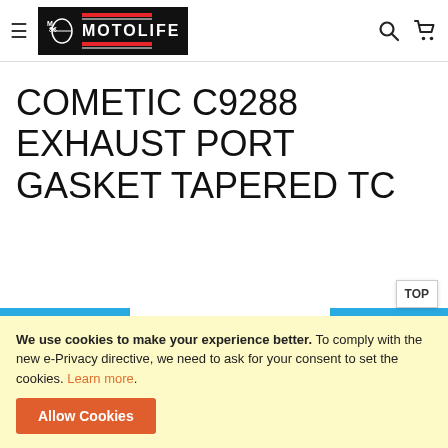MOTOLIFE — navigation header with hamburger menu, logo, search and cart icons
COMETIC C9288 EXHAUST PORT GASKET TAPERED TC
[Figure (photo): Partial view of a product image showing a white box with COMETIC and NPAG brand logos on a blue background stripe]
We use cookies to make your experience better. To comply with the new e-Privacy directive, we need to ask for your consent to set the cookies. Learn more.
Allow Cookies